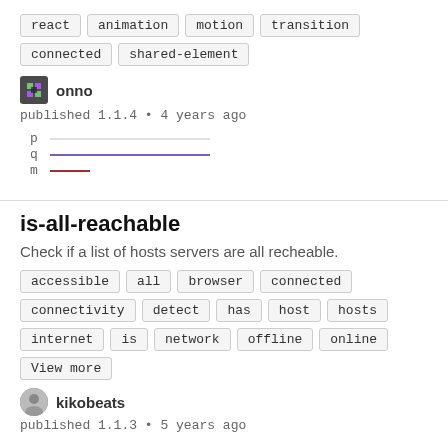react
animation
motion
transition
connected
shared-element
onno
published 1.1.4 • 4 years ago
[Figure (other): Small sparkline chart with three lines: p (light grey), q (purple), m (dark red/maroon), showing download trend]
is-all-reachable
Check if a list of hosts servers are all recheable.
accessible
all
browser
connected
connectivity
detect
has
host
hosts
internet
is
network
offline
online
View more
kikobeats
published 1.1.3 • 5 years ago